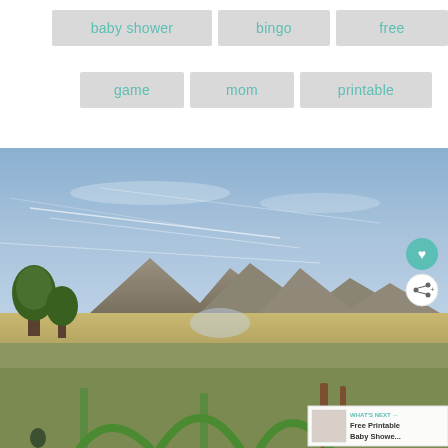baby shower
bingo
free
game
mom
printable
[Figure (photo): Outdoor playground and park scene with blue sky, mountains in the background, green trees, and playground equipment in the foreground. Overlay shows action buttons (heart/save and share) and a 'What's Next' panel showing 'Free Printable Baby Showe...']